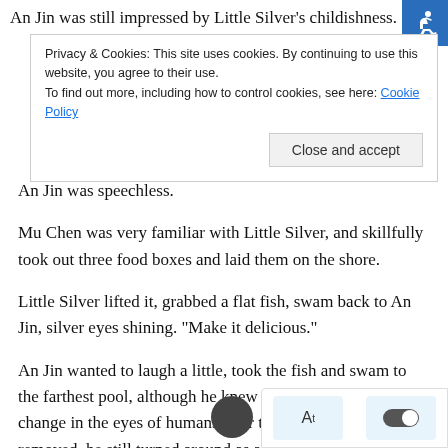An Jin was still impressed by Little Silver’s childishness. “I
Privacy & Cookies: This site uses cookies. By continuing to use this website, you agree to their use.
To find out more, including how to control cookies, see here: Cookie Policy
An Jin was speechless.
Mu Chen was very familiar with Little Silver, and skillfully took out three food boxes and laid them on the shore.
Little Silver lifted it, grabbed a flat fish, swam back to An Jin, silver eyes shining. “Make it delicious.”
An Jin wanted to laugh a little, took the fish and swam to the farthest pool, although he knew that the food would not change in the eyes of humans after the impurities were removed, he still turned around as a matter of caution. He cut a [piece] of fish, removed the impurities and handed it to Li[ttle Silver]